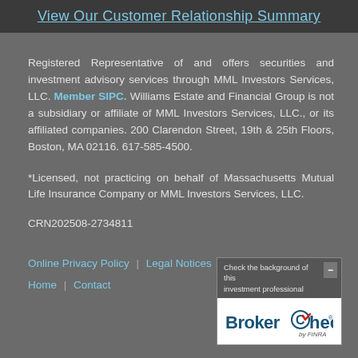View Our Customer Relationship Summary
Registered Representative of and offers securities and investment advisory services through MML Investors Services, LLC. Member SIPC. Williams Estate and Financial Group is not a subsidiary or affiliate of MML Investors Services, LLC., or its affiliated companies. 200 Clarendon Street, 19th & 25th Floors, Boston, MA 02116. 617-585-4500.
*Licensed, not practicing on behalf of Massachusetts Mutual Life Insurance Company or MML Investors Services, LLC.
CRN202508-2734811
Online Privacy Policy | Legal Notices
Home | Contact
[Figure (logo): BrokerCheck by FINRA logo with 'Check the background of this investment professional' header]